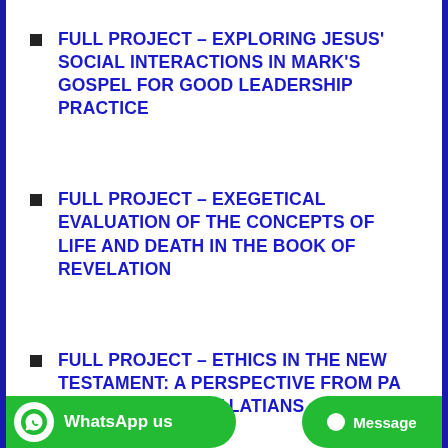FULL PROJECT – EXPLORING JESUS' SOCIAL INTERACTIONS IN MARK'S GOSPEL FOR GOOD LEADERSHIP PRACTICE
FULL PROJECT – EXEGETICAL EVALUATION OF THE CONCEPTS OF LIFE AND DEATH IN THE BOOK OF REVELATION
FULL PROJECT – ETHICS IN THE NEW TESTAMENT: A PERSPECTIVE FROM PAUL'S LETTER TO THE GALATIANS